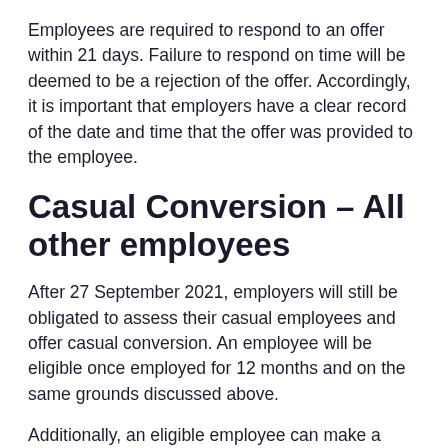Employees are required to respond to an offer within 21 days. Failure to respond on time will be deemed to be a rejection of the offer. Accordingly, it is important that employers have a clear record of the date and time that the offer was provided to the employee.
Casual Conversion – All other employees
After 27 September 2021, employers will still be obligated to assess their casual employees and offer casual conversion. An employee will be eligible once employed for 12 months and on the same grounds discussed above.
Additionally, an eligible employee can make a request to convert to permanent employment from 21 days after their 12 month anniversary; and may make a